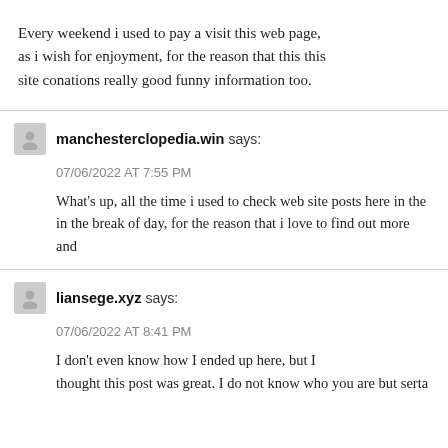Every weekend i used to pay a visit this web page, as i wish for enjoyment, for the reason that this this site conations really good funny information too.
manchesterclopedia.win says:
07/06/2022 AT 7:55 PM
What's up, all the time i used to check web site posts here in the in the break of day, for the reason that i love to find out more and
liansege.xyz says:
07/06/2022 AT 8:41 PM
I don't even know how I ended up here, but I thought this post was great. I do not know who you are but serta